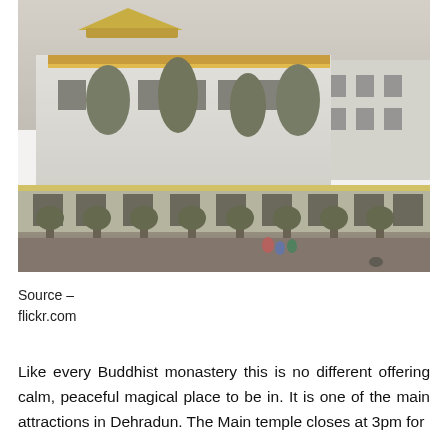[Figure (photo): Exterior view of a Tibetan Buddhist monastery with white multi-story buildings, traditional pagoda-style golden rooftop, trees lining the front, and a low boundary wall with dark windows.]
Source –
flickr.com
Like every Buddhist monastery this is no different offering calm, peaceful magical place to be in. It is one of the main attractions in Dehradun. The Main temple closes at 3pm for